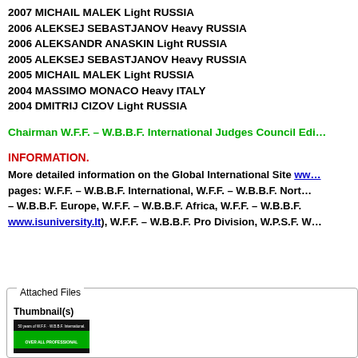2007 MICHAIL MALEK Light RUSSIA
2006 ALEKSEJ SEBASTJANOV Heavy RUSSIA
2006 ALEKSANDR ANASKIN Light RUSSIA
2005 ALEKSEJ SEBASTJANOV Heavy RUSSIA
2005 MICHAIL MALEK Light RUSSIA
2004 MASSIMO MONACO Heavy ITALY
2004 DMITRIJ CIZOV Light RUSSIA
Chairman W.F.F. – W.B.B.F. International Judges Council Edi…
INFORMATION.
More detailed information on the Global International Site www… pages: W.F.F. – W.B.B.F. International, W.F.F. – W.B.B.F. Nort… – W.B.B.F. Europe, W.F.F. – W.B.B.F. Africa, W.F.F. – W.B.B.F… www.isuniversity.lt), W.F.F. – W.B.B.F. Pro Division, W.P.S.F. W…
Attached Files
Thumbnail(s)